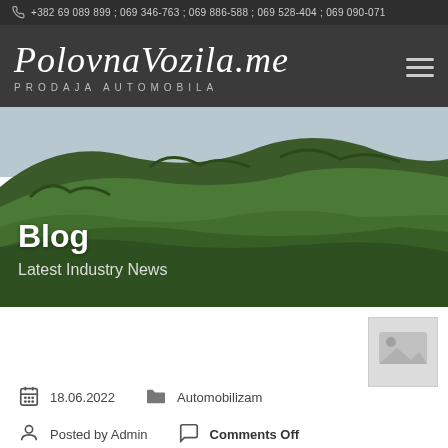+382 69 089 899 ; 069 346-763 ; 069 886-588 ; 069 528-404 ; 069 090-071
PlovnaVozila.me
PRODAJA AUTOMOBILA
[Figure (photo): Scenic forested hillside with sky in background, used as hero banner image]
Blog
Latest Industry News
[Figure (photo): Small placeholder/thumbnail image (light gray) in upper right of content area]
18.06.2022
Automobilizam
Posted by Admin
Comments Off